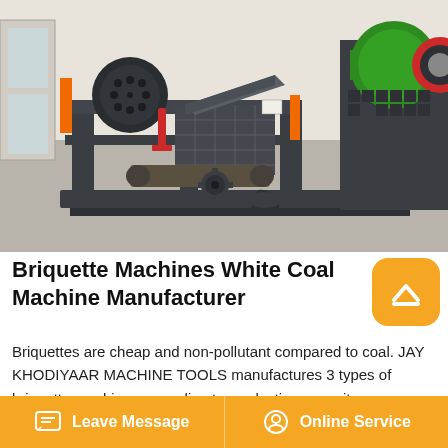[Figure (photo): Industrial briquette machine / white coal machine in a factory setting. Large dark grey metal frame machine with rollers, gears, and a green cylindrical component visible on the right side.]
Briquette Machines White Coal Machine Manufacturer
Briquettes are cheap and non-pollutant compared to coal. JAY KHODIYAAR MACHINE TOOLS manufactures 3 types of briquette machines according to production capacity, raw material and also according to the requirement of our clients. The machines are 1) Briquette System 65, 2) Briquette System 75, 3) Briquette System
Leave Message   Online Service